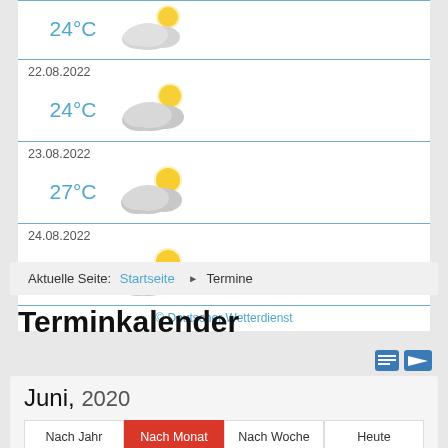22.08.2022
24°C
23.08.2022
27°C
24.08.2022
27°C
© Deutscher Wetterdienst
Aktuelle Seite: Startseite ▶ Termine
Terminkalender
Juni, 2020
Nach Jahr | Nach Monat | Nach Woche | Heute